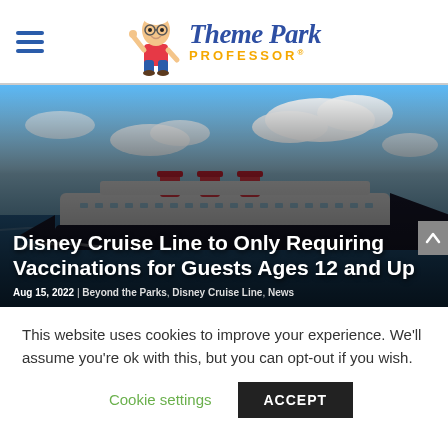Theme Park Professor
[Figure (photo): Disney cruise ship sailing on blue ocean with cloudy sky, with article headline overlaid: Disney Cruise Line to Only Requiring Vaccinations for Guests Ages 12 and Up]
Disney Cruise Line to Only Requiring Vaccinations for Guests Ages 12 and Up
Aug 15, 2022 | Beyond the Parks, Disney Cruise Line, News
This website uses cookies to improve your experience. We'll assume you're ok with this, but you can opt-out if you wish.
Cookie settings    ACCEPT